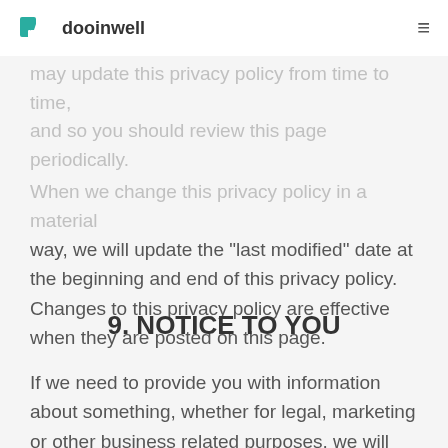dooinwell
may update this privacy policy from time to time, and so you should review this page periodically. When we change this privacy policy in a material way, we will update the "last modified" date at the beginning and end of this privacy policy. Changes to this privacy policy are effective when they are posted on this page.
9. NOTICE TO YOU
If we need to provide you with information about something, whether for legal, marketing or other business related purposes, we will select what we